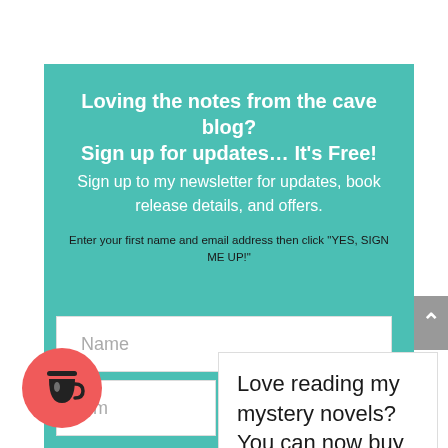Loving the notes from the cave blog? Sign up for updates… It's Free!
Sign up to my newsletter for updates, book release details, and offers.
Enter your first name and email address then click "YES, SIGN ME UP!"
[Figure (screenshot): Name input field (empty, placeholder text 'Name')]
[Figure (screenshot): Email input field (partially visible, placeholder 'Em...')]
Love reading my mystery novels? You can now buy me a coffee!
[Figure (infographic): Red circular coffee cup icon button (Buy Me a Coffee widget)]
[Figure (infographic): Gray scroll-to-top button with upward chevron arrow]